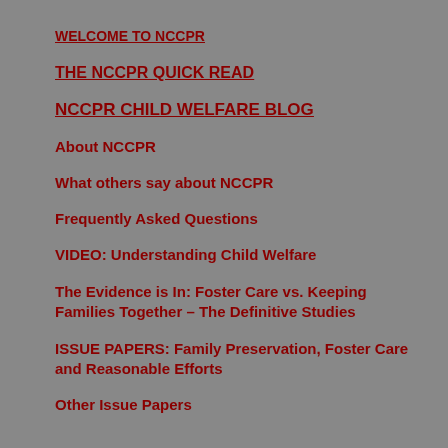WELCOME TO NCCPR
THE NCCPR QUICK READ
NCCPR CHILD WELFARE BLOG
About NCCPR
What others say about NCCPR
Frequently Asked Questions
VIDEO: Understanding Child Welfare
The Evidence is In: Foster Care vs. Keeping Families Together – The Definitive Studies
ISSUE PAPERS: Family Preservation, Foster Care and Reasonable Efforts
Other Issue Papers